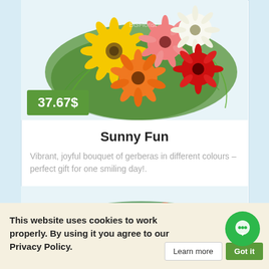[Figure (photo): Colorful bouquet of gerbera flowers (yellow, pink, white, orange, red) with green foliage on a white background. Watermark 'BGFlorist' visible.]
37.67$
Sunny Fun
Vibrant, joyful bouquet of gerberas in different colours – perfect gift for one smiling day!.
[Figure (photo): Bouquet of orange roses, pink gerberas, and white accent flowers with green leaves, wrapped in orange netting. Watermarks 'BGFlorist' visible.]
This website uses cookies to work properly. By using it you agree to our Privacy Policy.
Learn more
Got it